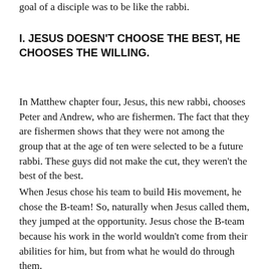goal of a disciple was to be like the rabbi.
I. JESUS DOESN'T CHOOSE THE BEST, HE CHOOSES THE WILLING.
In Matthew chapter four, Jesus, this new rabbi, chooses Peter and Andrew, who are fishermen. The fact that they are fishermen shows that they were not among the group that at the age of ten were selected to be a future rabbi. These guys did not make the cut, they weren't the best of the best.
When Jesus chose his team to build His movement, he chose the B-team! So, naturally when Jesus called them, they jumped at the opportunity. Jesus chose the B-team because his work in the world wouldn't come from their abilities for him, but from what he would do through them.